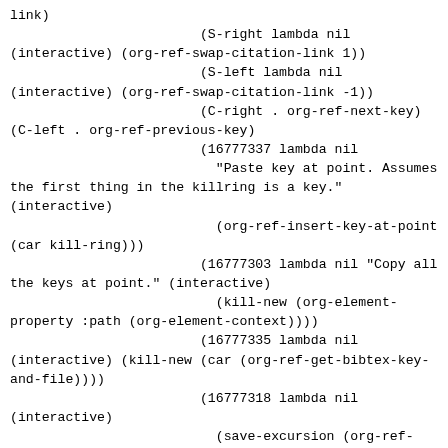link)
                        (S-right lambda nil
(interactive) (org-ref-swap-citation-link 1))
                        (S-left lambda nil
(interactive) (org-ref-swap-citation-link -1))
                        (C-right . org-ref-next-key)
(C-left . org-ref-previous-key)
                        (16777337 lambda nil
                          "Paste key at point. Assumes
the first thing in the killring is a key."
(interactive)
                          (org-ref-insert-key-at-point
(car kill-ring)))
                        (16777303 lambda nil "Copy all
the keys at point." (interactive)
                          (kill-new (org-element-
property :path (org-element-context))))
                        (16777335 lambda nil
(interactive) (kill-new (car (org-ref-get-bibtex-key-
and-file))))
                        (16777318 lambda nil
(interactive)
                          (save-excursion (org-ref-
open-citation-at-point)
                            (kill-new (org-ref-format-
bibtex-entry-at-point)))
                          )
                        (16777319 . org-ref-google-
scholar-at-point)
                        (16777317 lambda nil "Email